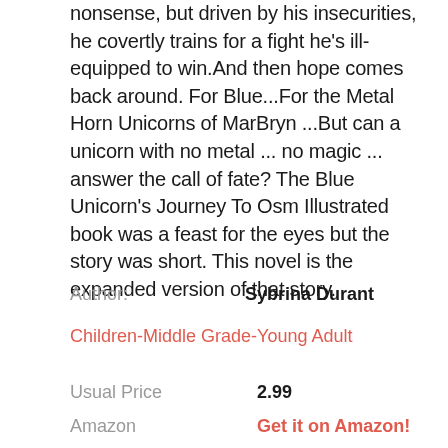nonsense, but driven by his insecurities, he covertly trains for a fight he's ill-equipped to win.And then hope comes back around. For Blue...For the Metal Horn Unicorns of MarBryn ...But can a unicorn with no metal ... no magic ... answer the call of fate? The Blue Unicorn's Journey To Osm Illustrated book was a feast for the eyes but the story was short. This novel is the expanded version of that story.
Author: Sybrina Durant
Children-Middle Grade-Young Adult
Usual Price 2.99
Amazon Get it on Amazon!